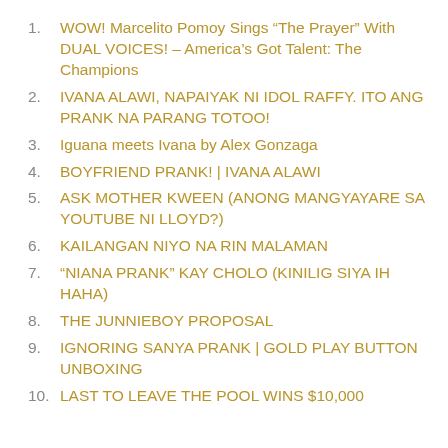1. WOW! Marcelito Pomoy Sings “The Prayer” With DUAL VOICES! – America’s Got Talent: The Champions
2. IVANA ALAWI, NAPAIYAK NI IDOL RAFFY. ITO ANG PRANK NA PARANG TOTOO!
3. Iguana meets Ivana by Alex Gonzaga
4. BOYFRIEND PRANK! | IVANA ALAWI
5. ASK MOTHER KWEEN (ANONG MANGYAYARE SA YOUTUBE NI LLOYD?)
6. KAILANGAN NIYO NA RIN MALAMAN
7. “NIANA PRANK” KAY CHOLO (KINILIG SIYA IH HAHA)
8. THE JUNNIEBOY PROPOSAL
9. IGNORING SANYA PRANK | GOLD PLAY BUTTON UNBOXING
10. LAST TO LEAVE THE POOL WINS $10,000